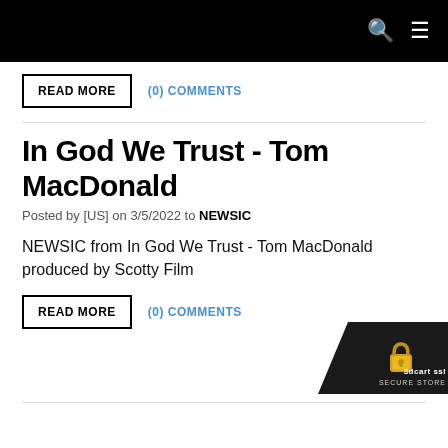Navigation bar with search and menu icons
READ MORE   (0) COMMENTS
In God We Trust - Tom MacDonald
Posted by [US] on 3/5/2022 to NEWSIC
NEWSIC from In God We Trust - Tom MacDonald produced by Scotty Film
READ MORE   (0) COMMENTS
[Figure (logo): 3dcart SSL Secure Store badge with gold padlock icon in bottom right corner]
(partial next article title visible)